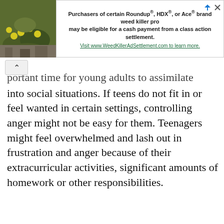[Figure (photo): Photo of green plant with yellow flowers on rocks, cropped top-left corner]
[Figure (infographic): Advertisement banner: Purchasers of certain Roundup®, HDX®, or Ace® brand weed killer products may be eligible for a cash payment from a class action settlement. Visit www.WeedKillerAdSettlement.com to learn more.]
...portant time for young adults to assimilate into social situations. If teens do not fit in or feel wanted in certain settings, controlling anger might not be easy for them. Teenagers might feel overwhelmed and lash out in frustration and anger because of their extracurricular activities, significant amounts of homework or other responsibilities.